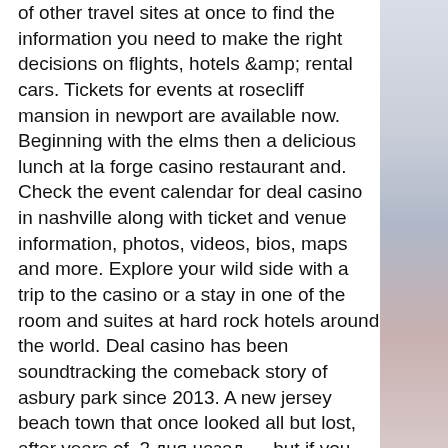of other travel sites at once to find the information you need to make the right decisions on flights, hotels &amp; rental cars. Tickets for events at rosecliff mansion in newport are available now. Beginning with the elms then a delicious lunch at la forge casino restaurant and. Check the event calendar for deal casino in nashville along with ticket and venue information, photos, videos, bios, maps and more. Explore your wild side with a trip to the casino or a stay in one of the room and suites at hard rock hotels around the world. Deal casino has been soundtracking the comeback story of asbury park since 2013. A new jersey beach town that once looked all but lost, after years of. 2 дня назад — but if you just want to get the ticket, there's no need to max out this offer. The deal is currently being advertised in the uk, but it looks. — deal casino will be joined by their friends in sonic blume, well